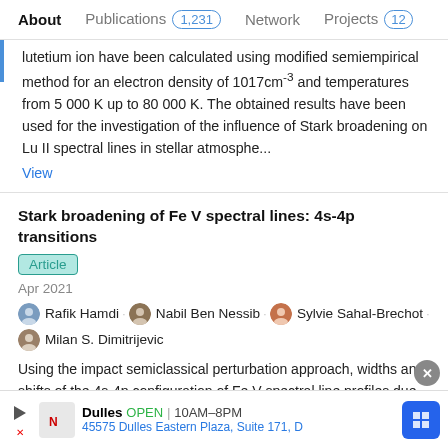About   Publications 1,231   Network   Projects 12
lutetium ion have been calculated using modified semiempirical method for an electron density of 1017cm-3 and temperatures from 5 000 K up to 80 000 K. The obtained results have been used for the investigation of the influence of Stark broadening on Lu II spectral lines in stellar atmosphe...
View
Stark broadening of Fe V spectral lines: 4s-4p transitions
Article
Apr 2021
Rafik Hamdi · Nabil Ben Nessib · Sylvie Sahal-Brechot · Milan S. Dimitrijevic
Using the impact semiclassical perturbation approach, widths and shifts of the 4s-4p configuration of Fe V spectral line profiles due to collisions with electrons, H+, He+ and He2 +
Dulles  OPEN | 10AM–8PM
45575 Dulles Eastern Plaza, Suite 171, D